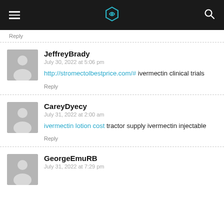Site navigation header with logo
Reply
JeffreyBrady
July 30, 2022 at 5:06 pm
http://stromectolbestprice.com/# ivermectin clinical trials
Reply
CareyDyecy
July 31, 2022 at 2:00 am
ivermectin lotion cost tractor supply ivermectin injectable
Reply
GeorgeEmuRB
July 31, 2022 at 7:29 pm